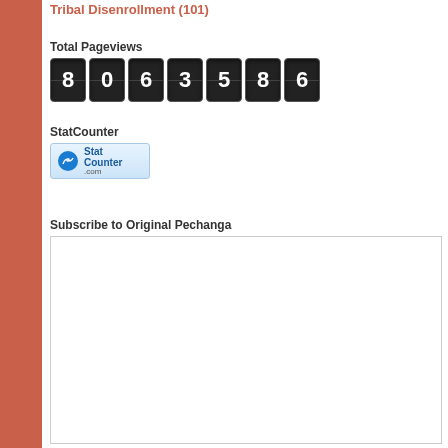Tribal Disenrollment (101)
Total Pageviews
[Figure (other): Digital counter showing 7 digits: 8063586]
StatCounter
[Figure (logo): StatCounter.com badge/logo with icon]
Subscribe to Original Pechanga
[Figure (other): Empty white subscription widget box]